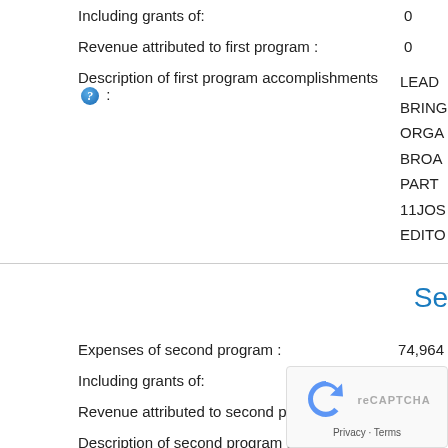Including grants of: 0
Revenue attributed to first program : 0
Description of first program accomplishments [?] : LEAD... BRING... ORGA... BROA... PART... 11JOS... EDITO...
Se (section link, truncated)
Expenses of second program : 74.964...
Including grants of:
Revenue attributed to second program:
Description of second program accomplishments [?] : YOUT...